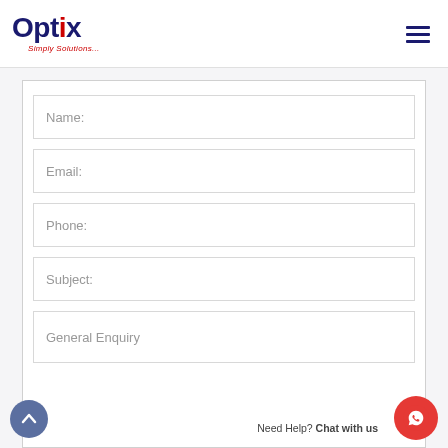[Figure (logo): Optix logo with text 'Simply Solutions...' tagline and hamburger menu icon]
Name:
Email:
Phone:
Subject:
General Enquiry
Need Help? Chat with us